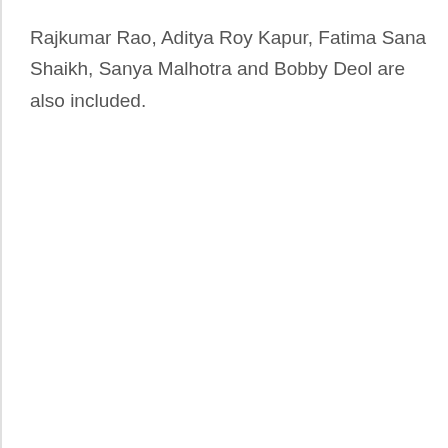Rajkumar Rao, Aditya Roy Kapur, Fatima Sana Shaikh, Sanya Malhotra and Bobby Deol are also included.